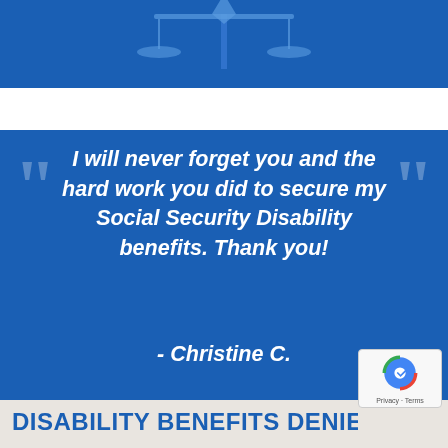[Figure (illustration): Blue banner with scales of justice illustration and partial text at the top]
I will never forget you and the hard work you did to secure my Social Security Disability benefits. Thank you!
- Christine C.
DISABILITY BENEFITS DENIED!